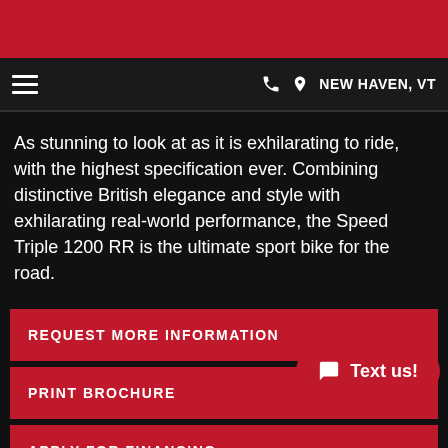NEW HAVEN, VT
As stunning to look at as it is exhilarating to ride, with the highest specification ever. Combining distinctive British elegance and style with exhilarating real-world performance, the Speed Triple 1200 RR is the ultimate sport bike for the road.
REQUEST MORE INFORMATION
PRINT BROCHURE
APPLY FOR FINANCING
CALCULATE PAYMENT
Text us!